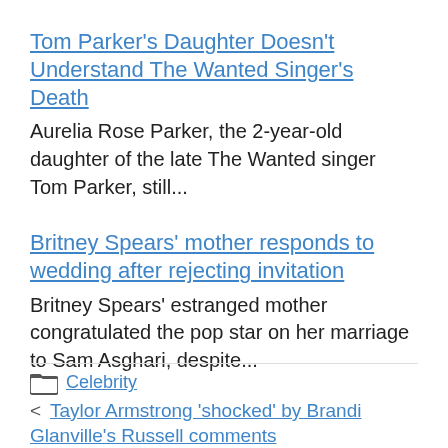Tom Parker's Daughter Doesn't Understand The Wanted Singer's Death
Aurelia Rose Parker, the 2-year-old daughter of the late The Wanted singer Tom Parker, still...
Britney Spears' mother responds to wedding after rejecting invitation
Britney Spears' estranged mother congratulated the pop star on her marriage to Sam Asghari, despite...
Celebrity
Taylor Armstrong 'shocked' by Brandi Glanville's Russell comments